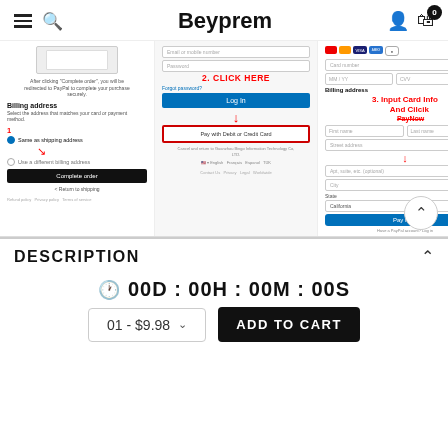Beyprem
[Figure (screenshot): Screenshot of a checkout/payment page with three columns showing PayPal checkout, billing address, PayPal login, and credit card input sections with annotated red arrows and labels: '1', '2. CLICK HERE', '3. Input Card Info And Cilcik PayNow']
DESCRIPTION
00D : 00H : 00M : 00S
01 - $9.98
ADD TO CART